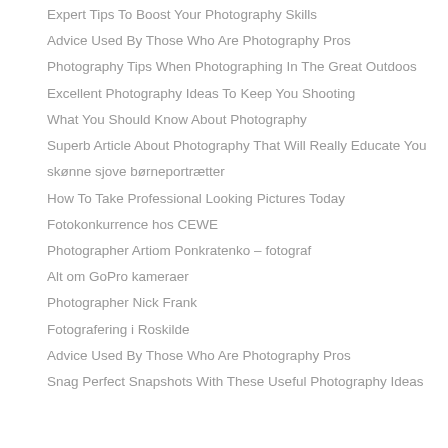Expert Tips To Boost Your Photography Skills
Advice Used By Those Who Are Photography Pros
Photography Tips When Photographing In The Great Outdoos
Excellent Photography Ideas To Keep You Shooting
What You Should Know About Photography
Superb Article About Photography That Will Really Educate You
skønne sjove børneportrætter
How To Take Professional Looking Pictures Today
Fotokonkurrence hos CEWE
Photographer Artiom Ponkratenko – fotograf
Alt om GoPro kameraer
Photographer Nick Frank
Fotografering i Roskilde
Advice Used By Those Who Are Photography Pros
Snag Perfect Snapshots With These Useful Photography Ideas